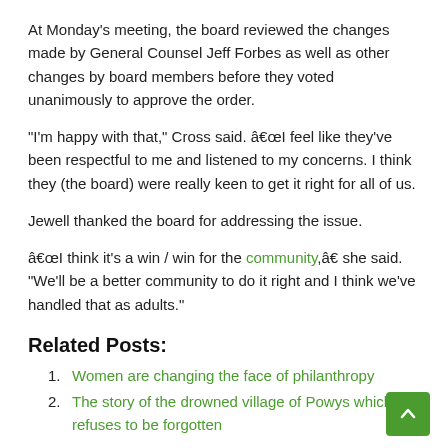At Monday's meeting, the board reviewed the changes made by General Counsel Jeff Forbes as well as other changes by board members before they voted unanimously to approve the order.
“I'm happy with that,” Cross said. “I feel like they've been respectful to me and listened to my concerns. I think they (the board) were really keen to get it right for all of us.
Jewell thanked the board for addressing the issue.
“I think it’s a win / win for the community,” she said. “We'll be a better community to do it right and I think we've handled that as adults.”
Related Posts:
1. Women are changing the face of philanthropy
2. The story of the drowned village of Powys which refuses to be forgotten